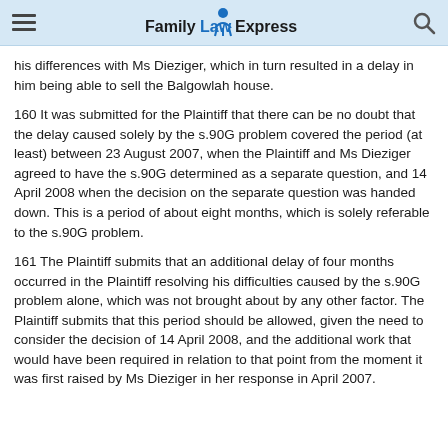FamilyLaw Express
his differences with Ms Dieziger, which in turn resulted in a delay in him being able to sell the Balgowlah house.
160 It was submitted for the Plaintiff that there can be no doubt that the delay caused solely by the s.90G problem covered the period (at least) between 23 August 2007, when the Plaintiff and Ms Dieziger agreed to have the s.90G determined as a separate question, and 14 April 2008 when the decision on the separate question was handed down. This is a period of about eight months, which is solely referable to the s.90G problem.
161 The Plaintiff submits that an additional delay of four months occurred in the Plaintiff resolving his difficulties caused by the s.90G problem alone, which was not brought about by any other factor. The Plaintiff submits that this period should be allowed, given the need to consider the decision of 14 April 2008, and the additional work that would have been required in relation to that point from the moment it was first raised by Ms Dieziger in her response in April 2007.